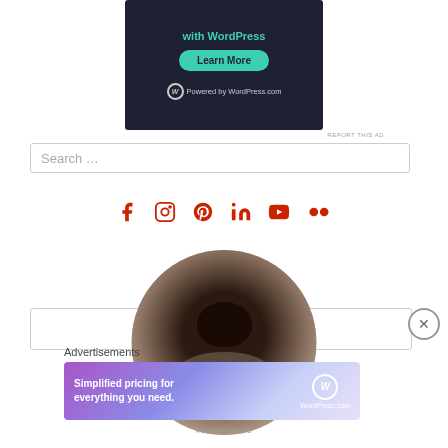[Figure (screenshot): WordPress advertisement banner showing 'with WordPress' text, a teal 'Learn More' button, and 'Powered by WordPress.com' at the bottom on a dark background]
REPORT THIS AD
Search …
[Figure (infographic): Row of six social media icons in red/crimson color: Facebook, Instagram, Pinterest, LinkedIn, YouTube, Flickr]
[Figure (photo): Close-up circular cropped photo of a dog's nose and snout in black and white/sepia tones]
Advertisements
[Figure (screenshot): WordPress.com advertisement banner with gradient purple/pink background showing 'Simplified pricing for everything you need.' and WordPress.com logo]
REPORT THIS AD